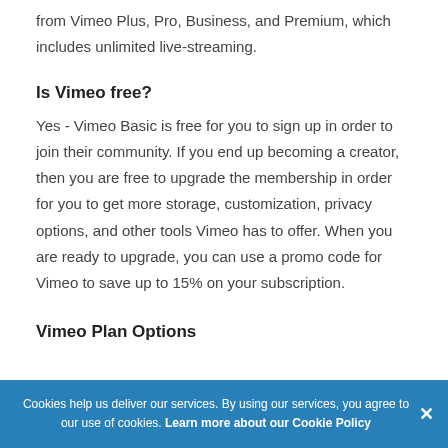from Vimeo Plus, Pro, Business, and Premium, which includes unlimited live-streaming.
Is Vimeo free?
Yes - Vimeo Basic is free for you to sign up in order to join their community. If you end up becoming a creator, then you are free to upgrade the membership in order for you to get more storage, customization, privacy options, and other tools Vimeo has to offer. When you are ready to upgrade, you can use a promo code for Vimeo to save up to 15% on your subscription.
Vimeo Plan Options
Cookies help us deliver our services. By using our services, you agree to our use of cookies. Learn more about our Cookie Policy